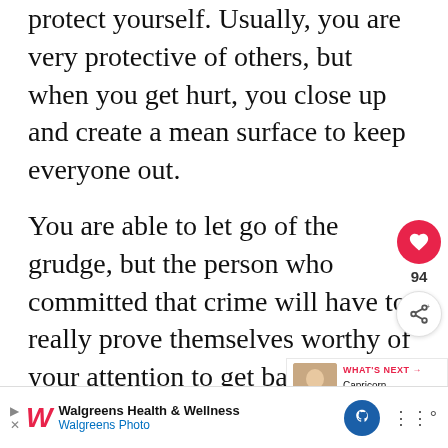protect yourself. Usually, you are very protective of others, but when you get hurt, you close up and create a mean surface to keep everyone out.
You are able to let go of the grudge, but the person who committed that crime will have to really prove themselves worthy of your attention to get back into the game.
[Figure (screenshot): What's Next panel with thumbnail of a woman and text 'WHAT'S NEXT → Capricorn Woman Eye...']
[Figure (photo): Advertisement image showing people at an event with yellow background and 'ad' badge]
[Figure (screenshot): Walgreens Health & Wellness / Walgreens Photo advertisement bar at bottom of page]